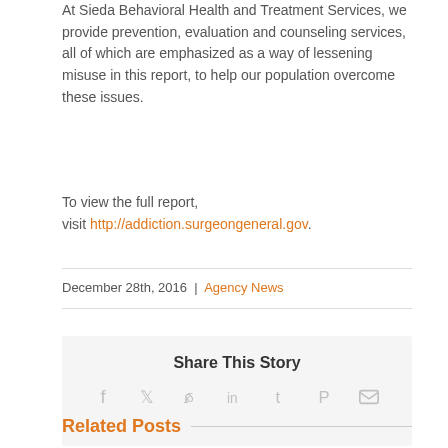At Sieda Behavioral Health and Treatment Services, we provide prevention, evaluation and counseling services, all of which are emphasized as a way of lessening misuse in this report, to help our population overcome these issues.
To view the full report, visit http://addiction.surgeongeneral.gov.
December 28th, 2016 | Agency News
Share This Story
[Figure (infographic): Social share icons: Facebook, Twitter, Reddit, LinkedIn, Tumblr, Pinterest, Email]
Related Posts